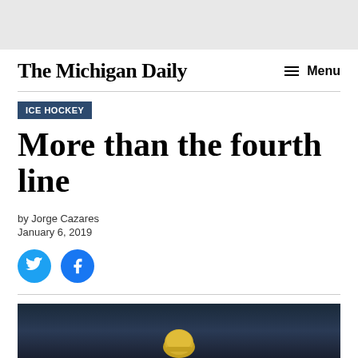The Michigan Daily — Menu
ICE HOCKEY
More than the fourth line
by Jorge Cazares
January 6, 2019
[Figure (photo): Dark arena photo showing a hockey player with a yellow helmet, partially visible at the bottom of the frame]